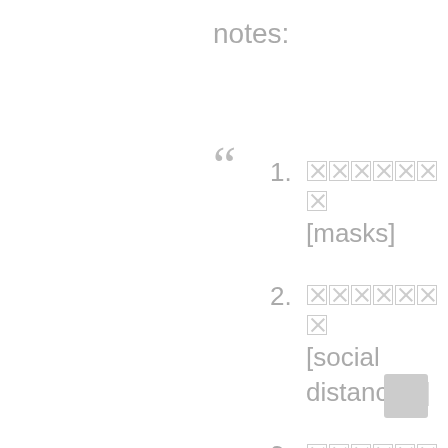notes:
[redacted] [masks]
[redacted] [social distancing]
[redacted] [cover mouth when coughing